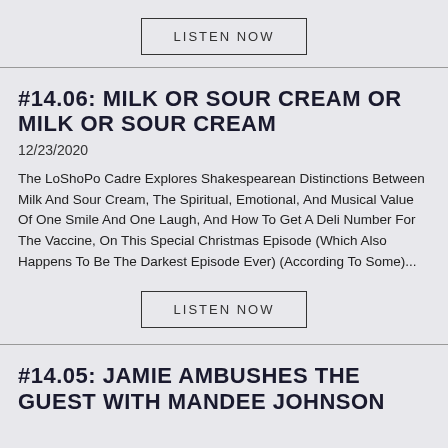[Figure (other): LISTEN NOW button with border at top of page]
#14.06: MILK OR SOUR CREAM OR MILK OR SOUR CREAM
12/23/2020
The LoShoPo Cadre Explores Shakespearean Distinctions Between Milk And Sour Cream, The Spiritual, Emotional, And Musical Value Of One Smile And One Laugh, And How To Get A Deli Number For The Vaccine, On This Special Christmas Episode (Which Also Happens To Be The Darkest Episode Ever) (According To Some)...
[Figure (other): LISTEN NOW button with border in middle of page]
#14.05: JAMIE AMBUSHES THE GUEST WITH MANDEE JOHNSON